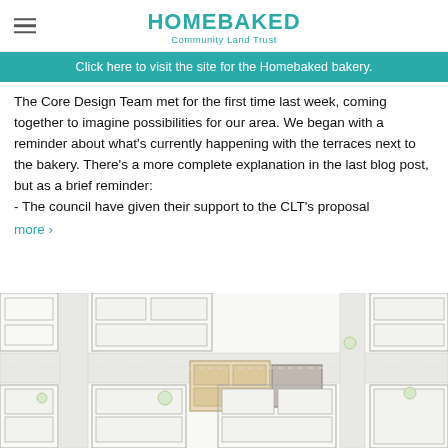HOMEBAKED Community Land Trust
Click here to visit the site for the Homebaked bakery.
The Core Design Team met for the first time last week, coming together to imagine possibilities for our area. We began with a reminder about what's currently happening with the terraces next to the bakery. There's a more complete explanation in the last blog post, but as a brief reminder:
- The council have given their support to the CLT's proposal more ›
[Figure (map): Architectural site map / bird's-eye sketch of the Homebaked bakery area showing street layout, buildings, and surrounding context with highlighted building footprints in beige and grey.]